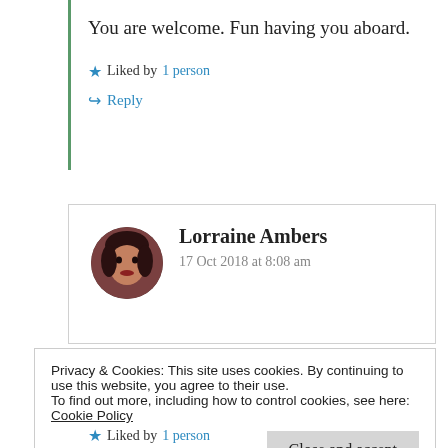You are welcome. Fun having you aboard.
★ Liked by 1 person
↪ Reply
Lorraine Ambers
17 Oct 2018 at 8:08 am
Privacy & Cookies: This site uses cookies. By continuing to use this website, you agree to their use.
To find out more, including how to control cookies, see here: Cookie Policy
Close and accept
★ Liked by 1 person